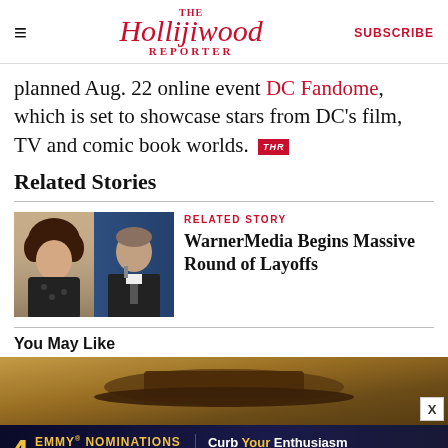THE Hollywood Reporter | SUBSCRIBE
planned Aug. 22 online event DC Fandome, which is set to showcase stars from DC's film, TV and comic book worlds. [THR]
Related Stories
[Figure (photo): Two people side by side: a woman with curly hair on the left and a man in a suit at a podium on the right]
RELATED STORY
WarnerMedia Begins Massive Round of Layoffs
You May Like
[Figure (photo): Partially visible image of a person wearing a cowboy-style hat against a sandy background]
[Figure (other): Advertisement banner: 4 Emmy Nominations Including Outstanding Comedy Series – Curb Your Enthusiasm – HBO FYC]